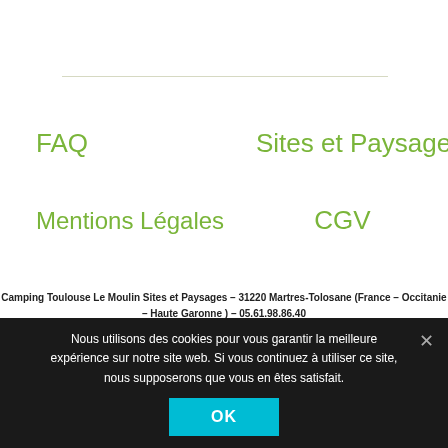FAQ
Sites et Paysages
Mentions Légales
CGV
Camping Toulouse Le Moulin Sites et Paysages – 31220 Martres-Tolosane (France – Occitanie – Haute Garonne) – 05.61.98.86.40
Nous utilisons des cookies pour vous garantir la meilleure expérience sur notre site web. Si vous continuez à utiliser ce site, nous supposerons que vous en êtes satisfait.